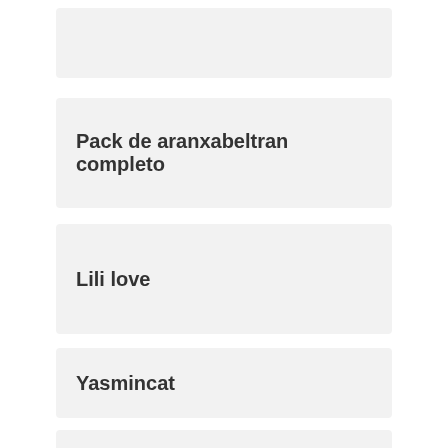Pack de aranxabeltran completo
Lili love
Yasmincat
Tetonas